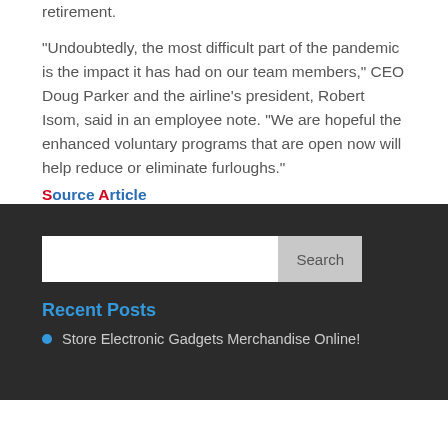retirement.
“Undoubtedly, the most difficult part of the pandemic is the impact it has had on our team members,” CEO Doug Parker and the airline’s president, Robert Isom, said in an employee note. “We are hopeful the enhanced voluntary programs that are open now will help reduce or eliminate furloughs.”
Source Article
[Figure (screenshot): Search bar with text input and Search button]
Recent Posts
Store Electronic Gadgets Merchandise Online!